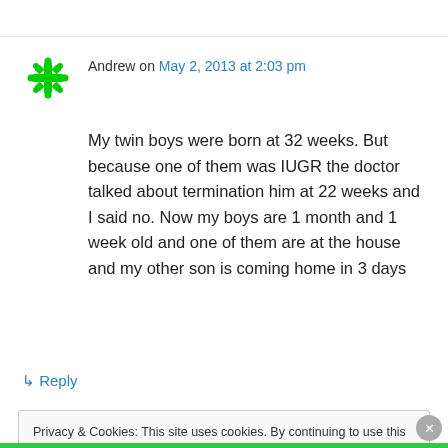Andrew on May 2, 2013 at 2:03 pm
My twin boys were born at 32 weeks. But because one of them was IUGR the doctor talked about termination him at 22 weeks and I said no. Now my boys are 1 month and 1 week old and one of them are at the house and my other son is coming home in 3 days
↳ Reply
Privacy & Cookies: This site uses cookies. By continuing to use this website, you agree to their use.
To find out more, including how to control cookies, see here: Cookie Policy